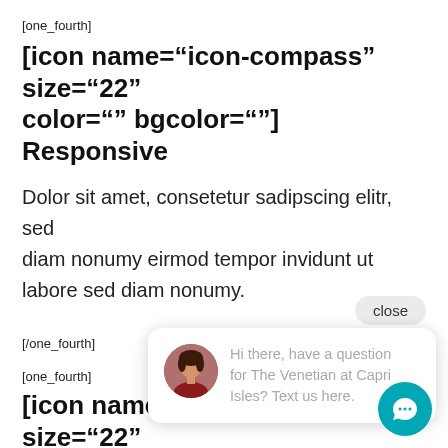[one_fourth]
[icon name="icon-compass" size="22" color="" bgcolor=""]  Responsive
Dolor sit amet, consetetur sadipscing elitr, sed diam nonumy eirmod tempor invidunt ut labore sed diam nonumy.
[/one_fourth]
[one_fourth]
[icon name="icon-font" size="22" color="" bgcolor=""]  600+ Webfo
[Figure (screenshot): Chat popup with avatar photo of a woman and text: Hi there, have a question for The Venetian at Capri Isles? Text us here. A close button and a teal chat icon button are also visible.]